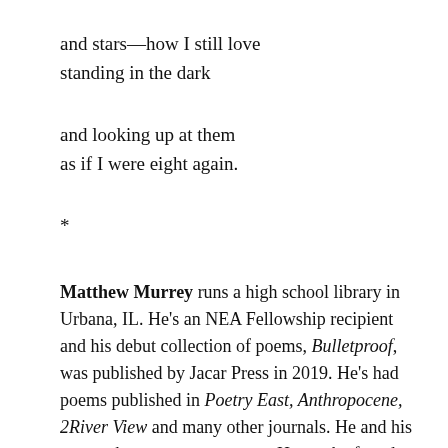and stars—how I still love
standing in the dark
and looking up at them
as if I were eight again.
*
Matthew Murrey runs a high school library in Urbana, IL. He's an NEA Fellowship recipient and his debut collection of poems, Bulletproof, was published by Jacar Press in 2019. He's had poems published in Poetry East, Anthropocene, 2River View and many other journals. He and his partner have two grown sons. He can be found on Twitter @mytwords and his website is at